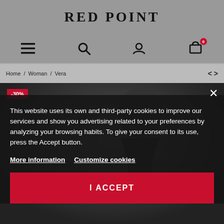RED POINT
[Figure (screenshot): Navigation icons row: hamburger menu, search, user account, shopping cart with badge showing 0]
Home / Woman / Vera
[Figure (photo): Dark product photo of a woman wearing a dark outfit, with a -30% discount badge in the upper left corner]
This website uses its own and third-party cookies to improve our services and show you advertising related to your preferences by analyzing your browsing habits. To give your consent to its use, press the Accept button.
More information   Customize cookies
I ACCEPT